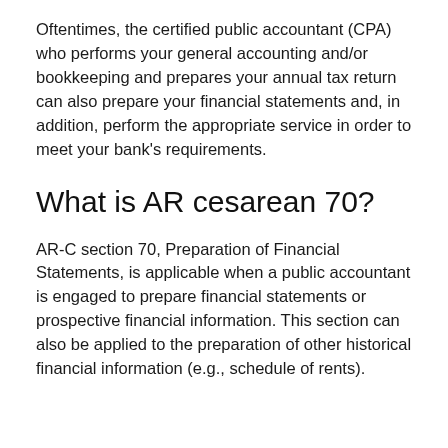Oftentimes, the certified public accountant (CPA) who performs your general accounting and/or bookkeeping and prepares your annual tax return can also prepare your financial statements and, in addition, perform the appropriate service in order to meet your bank's requirements.
What is AR cesarean 70?
AR-C section 70, Preparation of Financial Statements, is applicable when a public accountant is engaged to prepare financial statements or prospective financial information. This section can also be applied to the preparation of other historical financial information (e.g., schedule of rents).